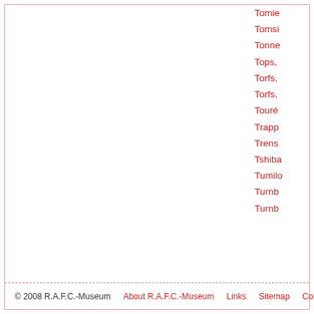Tomie…
Tomsi…
Tonne…
Tops,…
Torfs,…
Torfs,…
Touré…
Trapp…
Trens…
Tshiba…
Tumilo…
Turnb…
Turnb…
© 2008 R.A.F.C.-Museum   About R.A.F.C.-Museum   Links   Sitemap   Contact